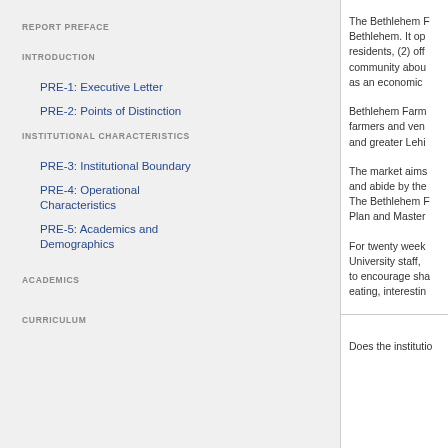REPORT PREFACE
INTRODUCTION
PRE-1: Executive Letter
PRE-2: Points of Distinction
INSTITUTIONAL CHARACTERISTICS
PRE-3: Institutional Boundary
PRE-4: Operational Characteristics
PRE-5: Academics and Demographics
ACADEMICS
CURRICULUM
The Bethlehem F... Bethlehem. It op... residents, (2) off... community abou... as an economic
Bethlehem Farm... farmers and ven... and greater Lehi...
The market aims... and abide by the... The Bethlehem F... Plan and Master
For twenty week... University staff,... to encourage sha... eating, interestin...
Does the institutio...